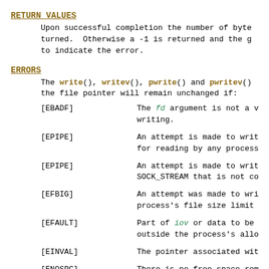RETURN VALUES
Upon successful completion the number of bytes is returned.  Otherwise a -1 is returned and the global variable errno is set to indicate the error.
ERRORS
The write(), writev(), pwrite() and pwritev() fail, and the file pointer will remain unchanged if:
[EBADF]   The fd argument is not a valid descriptor open for writing.
[EPIPE]   An attempt is made to write to a pipe that is not open for reading by any process.
[EPIPE]   An attempt is made to write to a socket of type SOCK_STREAM that is not connected.
[EFBIG]   An attempt was made to write a file that exceeds the process's file size limit.
[EFAULT]  Part of iov or data to be written to the file points outside the process's allocated address space.
[EINVAL]  The pointer associated with fd was negative.
[ENOSPC]  There is no free space remaining on the file system.